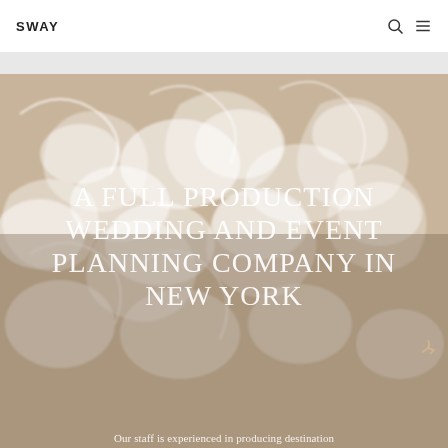SWAY
[Figure (photo): Close-up photograph of intricate white lace fabric with floral and scroll patterns on a beige/nude background, used as hero background image]
A FULL PRODUCTION WEDDING AND EVENT PLANNING COMPANY IN NEW YORK
Our staff is experienced in producing destination